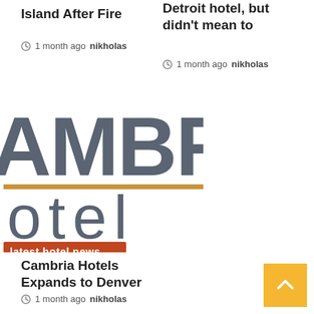Island After Fire
1 month ago  nikholas
Detroit hotel, but didn't mean to
1 month ago  nikholas
[Figure (logo): Cambria Hotel logo showing 'AMBR' in large grey letters, 'otel' below a gold horizontal line, and 'latest hotel news' in a red/orange badge]
Cambria Hotels Expands to Denver
1 month ago  nikholas